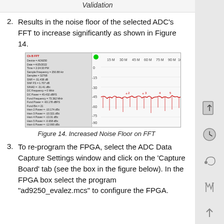Validation
2. Results in the noise floor of the selected ADC's FFT to increase significantly as shown in Figure 14.
[Figure (screenshot): Screenshot of Ch B FFT analysis tool showing an FFT plot with an elevated noise floor. Left panel shows device and measurement parameters including Device = AD9250, SNR = -31.438 dB, SFDR = 1.778 dBc, THD = -3.926 dBc, and other harmonic measurements. Right panel shows the FFT spectrum plot in red displaying significantly increased noise floor across the frequency range.]
Figure 14. Increased Noise Floor on FFT
3. To re-program the FPGA, select the ADC Data Capture Settings window and click on the 'Capture Board' tab (see the box in the figure below). In the FPGA box select the program "ad9250_evalez.mcs" to configure the FPGA.